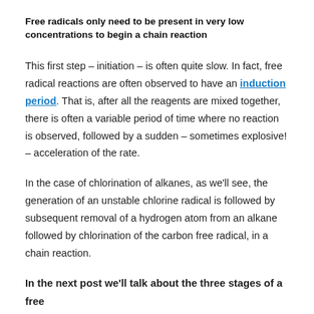Free radicals only need to be present in very low concentrations to begin a chain reaction
This first step – initiation – is often quite slow. In fact, free radical reactions are often observed to have an induction period. That is, after all the reagents are mixed together, there is often a variable period of time where no reaction is observed, followed by a sudden – sometimes explosive! – acceleration of the rate.
In the case of chlorination of alkanes, as we'll see, the generation of an unstable chlorine radical is followed by subsequent removal of a hydrogen atom from an alkane followed by chlorination of the carbon free radical, in a chain reaction.
In the next post we'll talk about the three stages of a free